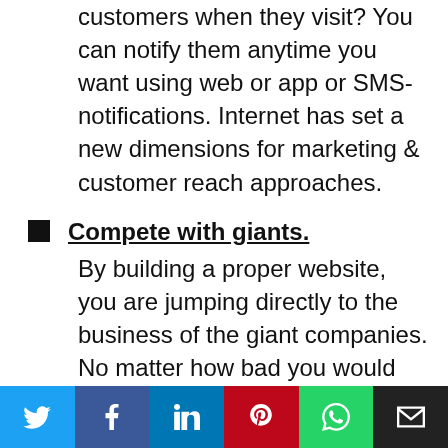customers when they visit? You can notify them anytime you want using web or app or SMS-notifications. Internet has set a new dimensions for marketing & customer reach approaches.
Compete with giants. By building a proper website, you are jumping directly to the business of the giant companies. No matter how bad you would do, you will feel valued.